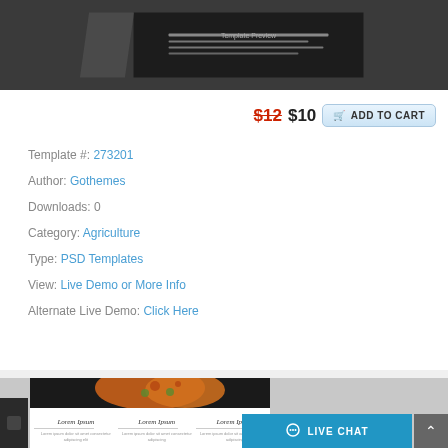[Figure (screenshot): Dark banner at top showing a template preview thumbnail on dark background]
$12 $10 ADD TO CART
Template #: 273201
Author: Gothemes
Downloads: 0
Category: Agriculture
Type: PSD Templates
View: Live Demo or More Info
Alternate Live Demo: Click Here
[Figure (screenshot): Bottom portion showing a pizza restaurant template preview with pizza images and Lorem Ipsum text sections, and a Live Chat bar]